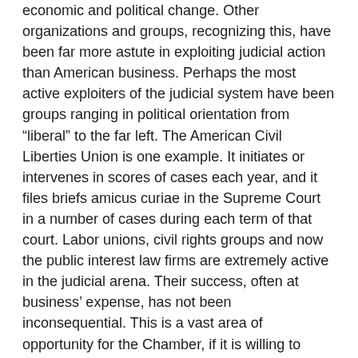economic and political change. Other organizations and groups, recognizing this, have been far more astute in exploiting judicial action than American business. Perhaps the most active exploiters of the judicial system have been groups ranging in political orientation from “liberal” to the far left. The American Civil Liberties Union is one example. It initiates or intervenes in scores of cases each year, and it files briefs amicus curiae in the Supreme Court in a number of cases during each term of that court. Labor unions, civil rights groups and now the public interest law firms are extremely active in the judicial arena. Their success, often at business’ expense, has not been inconsequential. This is a vast area of opportunity for the Chamber, if it is willing to undertake the role of spokesman for American business and if, in turn, business is willing to provide the funds.
Yes, it turns out business is more than willing to provide funds in order to dismantle democracy and to transform it into corporatocracy. And do note how defense of civil liberties is considered “far left” by the Chamber of Commerce.
But those were the “bad old days” of 1971. Much has